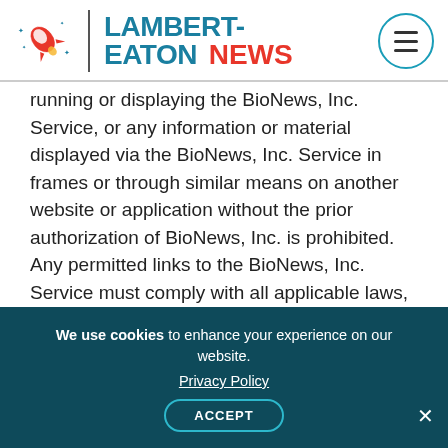[Figure (logo): Lambert-Eaton News logo with rocket icon, teal LAMBERT-EATON text, red NEWS text, and hamburger menu icon in teal circle]
running or displaying the BioNews, Inc. Service, or any information or material displayed via the BioNews, Inc. Service in frames or through similar means on another website or application without the prior authorization of BioNews, Inc. is prohibited. Any permitted links to the BioNews, Inc. Service must comply with all applicable laws, rule, and regulations. BioNews, Inc. makes no representation that Materials contained, described, or offered via the BioNews, Inc. Service are accurate, appropriate, lawful, or available for use in jurisdictions outside the United States, or that
We use cookies to enhance your experience on our website.
Privacy Policy
ACCEPT